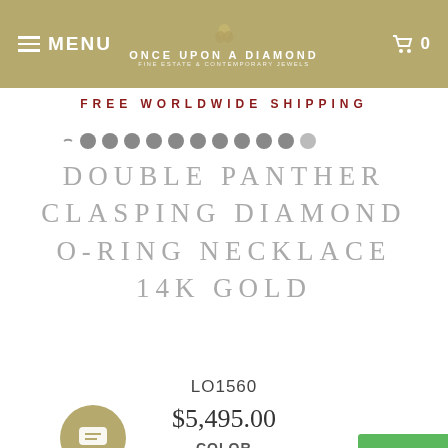MENU | ONCE UPON A DIAMOND | 0
FREE WORLDWIDE SHIPPING
DOUBLE PANTHER CLASPING DIAMOND O-RING NECKLACE 14K GOLD
LO1560
$5,495.00
COLOR
White & Yellow Gold